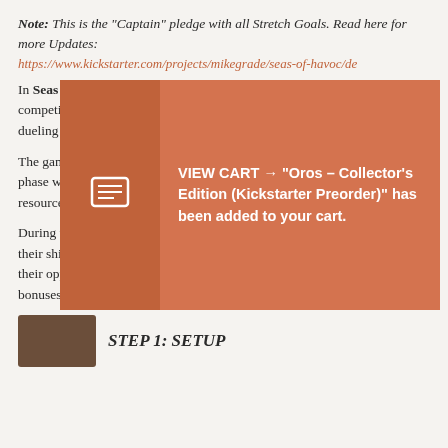Note: This is the "Captain" pledge with all Stretch Goals. Read here for more Updates:
https://www.kickstarter.com/projects/mikegrade/seas-of-havoc/de
[Figure (screenshot): Popup overlay with a shopping cart notification: VIEW CART → "Oros – Collector's Edition (Kickstarter Preorder)" has been added to your cart. Orange/salmon background with white bold text and a receipt/document icon on the left.]
In Seas of Havoc, you play as the captain of a... are competing... renown for discovering shipwreck and dueling it out on the high seas.
The game is split between a combat phase on the high seas and an island phase where players send out their skiffs to worker placements to gain resources, improve their decks, repair and upgrade their ship.
During the combat phase, Players will play out a hand of cards to maneuver their ship; navigating obstacles, searching shipwrecks and firing cannons at their opponents. Multi-use cards offer options as the battle unfolds and card bonuses reward smart play.
STEP 1: SETUP